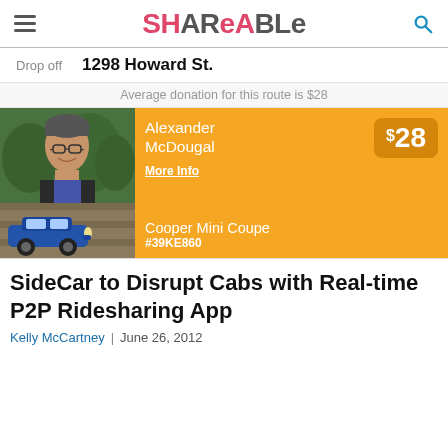Shareable
[Figure (screenshot): App screenshot showing a ridesharing app UI: Drop off 1298 Howard St., Average donation for this route is $28, driver Alexander McDougal with $28 price box, More Info link, Cooper Mini Coupe #39KE860, with photo of male driver and blue Mini Cooper car]
SideCar to Disrupt Cabs with Real-time P2P Ridesharing App
Kelly McCartney | June 26, 2012